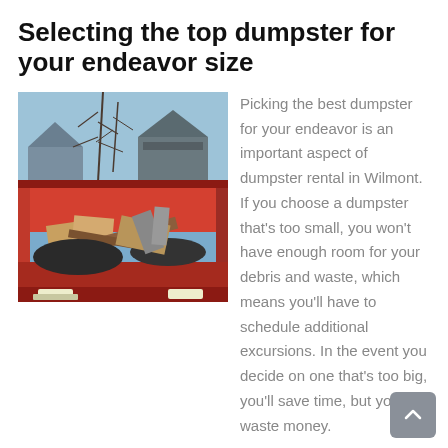Selecting the top dumpster for your endeavor size
[Figure (photo): A red dumpster filled with debris including cardboard boxes, wood scraps, and miscellaneous waste, photographed from inside looking out toward bare winter trees and houses under a blue sky.]
Picking the best dumpster for your endeavor is an important aspect of dumpster rental in Wilmont. If you choose a dumpster that's too small, you won't have enough room for your debris and waste, which means you'll have to schedule additional excursions. In the event you decide on one that's too big, you'll save time, but you'll waste money.